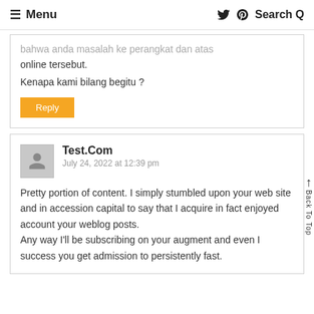≡ Menu   Search Q
bahwa anda masalah ke perangkat dan atas online tersebut.
Kenapa kami bilang begitu ?
Reply
Test.Com
July 24, 2022 at 12:39 pm
Pretty portion of content. I simply stumbled upon your web site and in accession capital to say that I acquire in fact enjoyed account your weblog posts.
Any way I'll be subscribing on your augment and even I success you get admission to persistently fast.